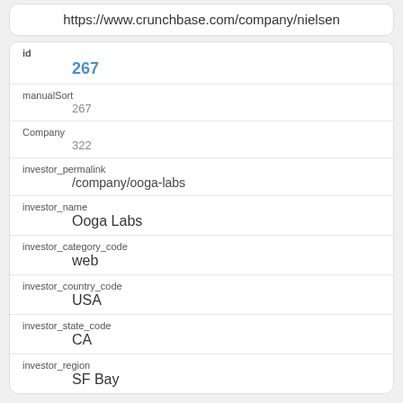https://www.crunchbase.com/company/nielsen
| Field | Value |
| --- | --- |
| id | 267 |
| manualSort | 267 |
| Company | 322 |
| investor_permalink | /company/ooga-labs |
| investor_name | Ooga Labs |
| investor_category_code | web |
| investor_country_code | USA |
| investor_state_code | CA |
| investor_region | SF Bay |